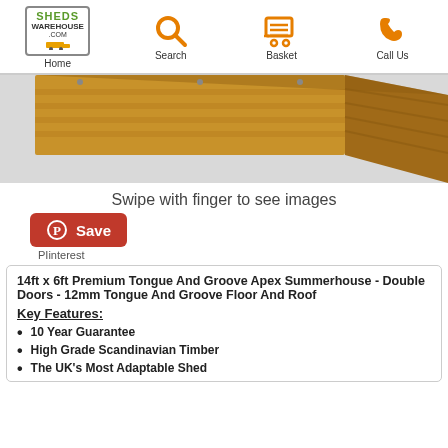Home | Search | Basket | Call Us
[Figure (photo): Partial view of a wooden shed/summerhouse with tongue and groove panels on a light grey background]
Swipe with finger to see images
[Figure (logo): Pinterest Save button (red with Pinterest P icon) with label 'Pinterest' below]
14ft x 6ft Premium Tongue And Groove Apex Summerhouse - Double Doors - 12mm Tongue And Groove Floor And Roof
Key Features:
10 Year Guarantee
High Grade Scandinavian Timber
The UK's Most Adaptable Shed